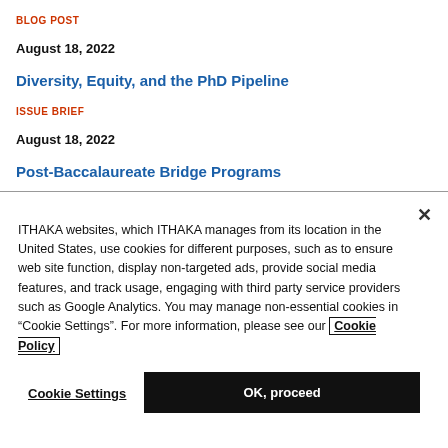BLOG POST
August 18, 2022
Diversity, Equity, and the PhD Pipeline
ISSUE BRIEF
August 18, 2022
Post-Baccalaureate Bridge Programs
ITHAKA websites, which ITHAKA manages from its location in the United States, use cookies for different purposes, such as to ensure web site function, display non-targeted ads, provide social media features, and track usage, engaging with third party service providers such as Google Analytics. You may manage non-essential cookies in “Cookie Settings”. For more information, please see our Cookie Policy
Cookie Settings
OK, proceed